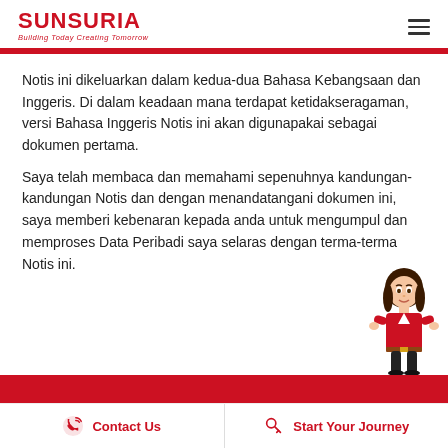SUNSURIA — Building Today Creating Tomorrow
Notis ini dikeluarkan dalam kedua-dua Bahasa Kebangsaan dan Inggeris. Di dalam keadaan mana terdapat ketidakseragaman, versi Bahasa Inggeris Notis ini akan digunapakai sebagai dokumen pertama.
Saya telah membaca dan memahami sepenuhnya kandungan-kandungan Notis dan dengan menandatangani dokumen ini, saya memberi kebenaran kepada anda untuk mengumpul dan memproses Data Peribadi saya selaras dengan terma-terma Notis ini.
[Figure (illustration): Animated female character in red jacket standing at bottom right corner]
Contact Us | Start Your Journey